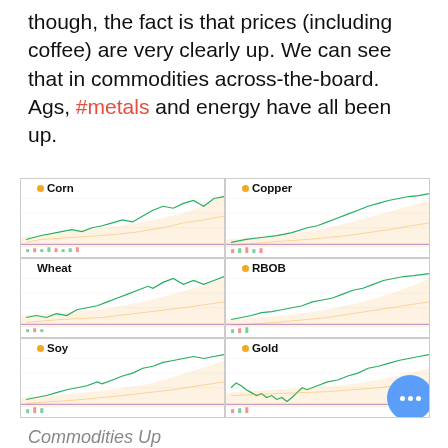though, the fact is that prices (including coffee) are very clearly up. We can see that in commodities across-the-board. Ags, #metals and energy have all been up.
[Figure (other): Grid of 6 commodity price charts: Corn, Copper, Wheat, RBOB, Soy, Gold — each showing price lines over time with volume bars at bottom]
Commodities Up